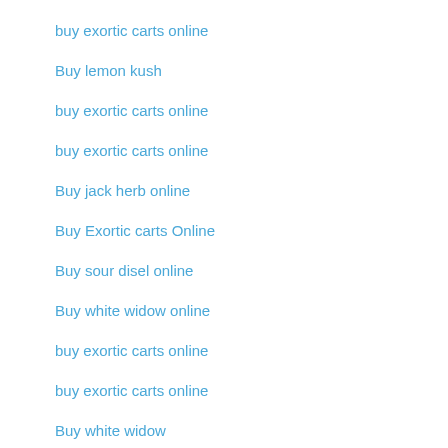buy exortic carts online
Buy lemon kush
buy exortic carts online
buy exortic carts online
Buy jack herb online
Buy Exortic carts Online
Buy sour disel online
Buy white widow online
buy exortic carts online
buy exortic carts online
Buy white widow